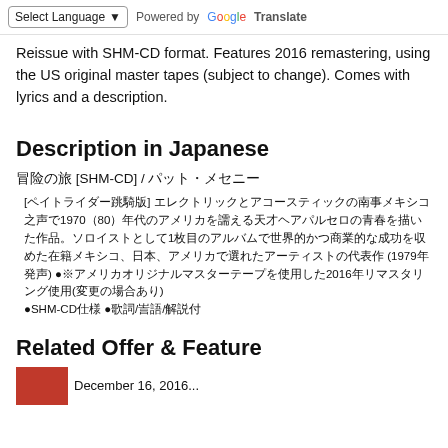Select Language  ▾  Powered by Google Translate
Reissue with SHM-CD format. Features 2016 remastering, using the US original master tapes (subject to change). Comes with lyrics and a description.
Description in Japanese
?????? [SHM-CD] / ????????
[??????????] ??????????????????????????1970?80????????????????????????????????1???????????????????????????????????????????? (1979???) ●????????????????????2016?????????????●SHM-CD?? ●??/??/???
Related Offer & Feature